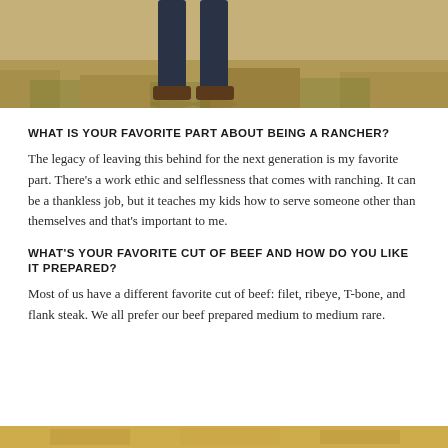[Figure (photo): Photo showing two people's legs and feet walking on dry grass/field, wearing dark jeans and brown shoes]
WHAT IS YOUR FAVORITE PART ABOUT BEING A RANCHER?
The legacy of leaving this behind for the next generation is my favorite part. There's a work ethic and selflessness that comes with ranching. It can be a thankless job, but it teaches my kids how to serve someone other than themselves and that's important to me.
WHAT'S YOUR FAVORITE CUT OF BEEF AND HOW DO YOU LIKE IT PREPARED?
Most of us have a different favorite cut of beef: filet, ribeye, T-bone, and flank steak. We all prefer our beef prepared medium to medium rare.
[Figure (photo): Partial photo at the bottom of the page, golden/amber tones visible]